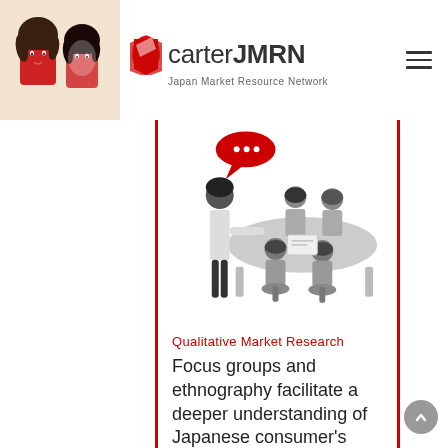[Figure (logo): CarterJMRN logo with red chevron/diamond shape and text 'carterJMRN Japan Market Resource Network']
[Figure (illustration): Flat illustration of a focus group meeting: one standing presenter with red speech bubble, five seated participants around a table, all in greyscale with red accent]
Qualitative Market Research
Focus groups and ethnography facilitate a deeper understanding of Japanese consumer's needs and existing business opportunities.